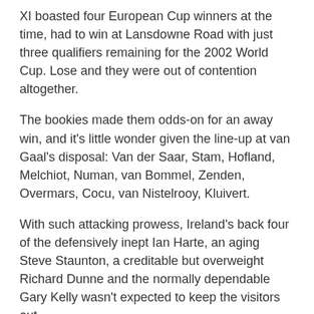XI boasted four European Cup winners at the time, had to win at Lansdowne Road with just three qualifiers remaining for the 2002 World Cup. Lose and they were out of contention altogether.
The bookies made them odds-on for an away win, and it's little wonder given the line-up at van Gaal's disposal: Van der Saar, Stam, Hofland, Melchiot, Numan, van Bommel, Zenden, Overmars, Cocu, van Nistelrooy, Kluivert.
With such attacking prowess, Ireland's back four of the defensively inept Ian Harte, an aging Steve Staunton, a creditable but overweight Richard Dunne and the normally dependable Gary Kelly wasn't expected to keep the visitors out.
When Kelly received a red card just before the hour mark, the Irish were on the ropes and given little chance of clinging on for the bell. But within 10